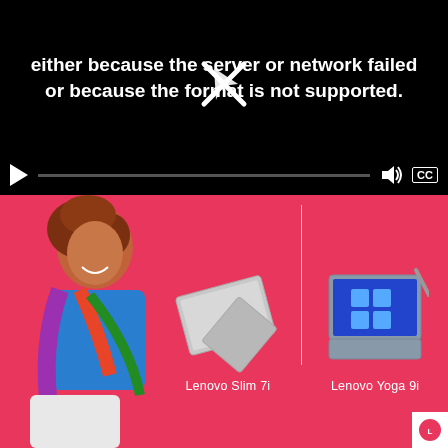[Figure (screenshot): Video player showing error: 'either because the server or network failed or because the format is not supported.' with a broken image icon, play button, volume and CC controls on black background.]
[Figure (photo): Advertisement with pink/red background showing a smiling woman with curly hair holding a laptop bag, alongside product images of Lenovo Slim 7i and Lenovo Yoga 9i laptops with their names labeled below.]